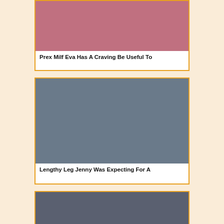[Figure (photo): Top portion of a person in pink clothing, partial view]
Prex Milf Eva Has A Craving Be Useful To
[Figure (photo): Blonde woman with large earrings wearing black clothing and carrying a black bag, in an urban setting]
Lengthy Leg Jenny Was Expecting For A
[Figure (photo): Young woman with long brown hair wearing red, in an indoor setting]